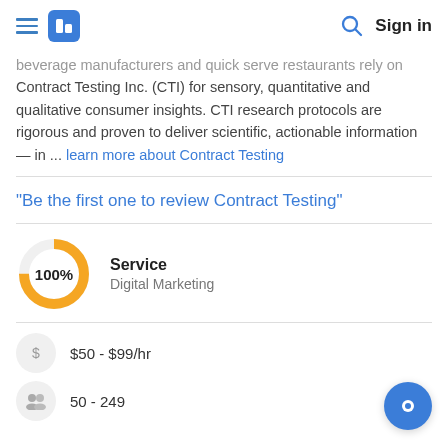Sign in
beverage manufacturers and quick serve restaurants rely on Contract Testing Inc. (CTI) for sensory, quantitative and qualitative consumer insights. CTI research protocols are rigorous and proven to deliver scientific, actionable information — in ... learn more about Contract Testing
"Be the first one to review Contract Testing"
[Figure (donut-chart): 100% donut chart in gold/yellow color]
Service
Digital Marketing
$50 - $99/hr
50 - 249